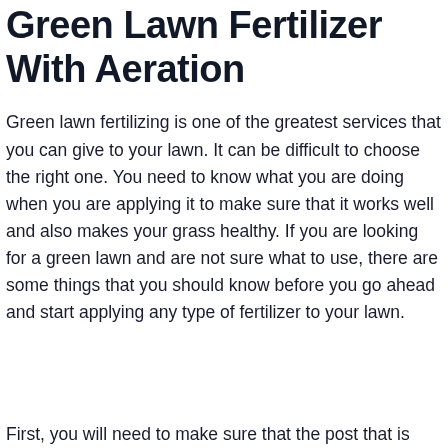Green Lawn Fertilizer With Aeration
Green lawn fertilizing is one of the greatest services that you can give to your lawn. It can be difficult to choose the right one. You need to know what you are doing when you are applying it to make sure that it works well and also makes your grass healthy. If you are looking for a green lawn and are not sure what to use, there are some things that you should know before you go ahead and start applying any type of fertilizer to your lawn.
First, you will need to make sure that the post that is